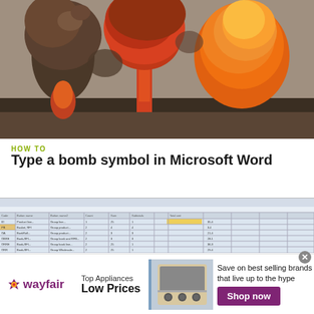[Figure (photo): Photograph of large explosion mushroom clouds with orange fireballs and dark smoke against a sky background.]
HOW TO
Type a bomb symbol in Microsoft Word
[Figure (screenshot): Screenshot of a Microsoft Excel spreadsheet with data in rows and columns, showing toolbar and cell grid.]
[Figure (infographic): Wayfair advertisement banner: Top Appliances Low Prices. Save on best selling brands that live up to the hype. Shop now button. Image of a kitchen range/stove.]